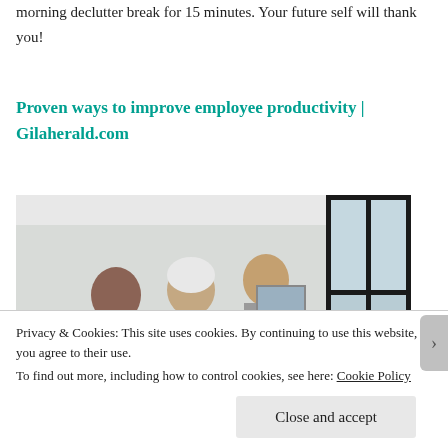morning declutter break for 15 minutes. Your future self will thank you!
Proven ways to improve employee productivity | Gilaherald.com
[Figure (photo): Group of employees in a bright office room, appearing to have a discussion. Several people visible including a woman with white/gray hair and men in casual attire. Large windows visible on the right side.]
Privacy & Cookies: This site uses cookies. By continuing to use this website, you agree to their use.
To find out more, including how to control cookies, see here: Cookie Policy